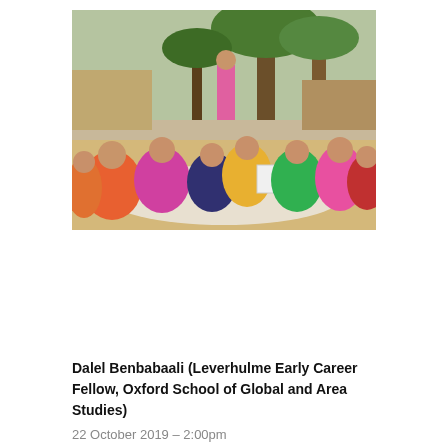[Figure (photo): A group of women sitting outdoors on the ground in a circle, wearing colorful saris, gathered under trees in what appears to be a rural village setting. One woman is holding up a document. A person stands in the background.]
Dalel Benbabaali (Leverhulme Early Career Fellow, Oxford School of Global and Area Studies)
22 October 2019 – 2:00pm